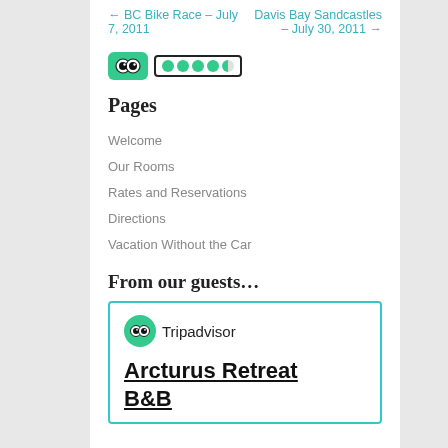← BC Bike Race – July 7, 2011    Davis Bay Sandcastles – July 30, 2011 →
[Figure (logo): TripAdvisor owl logo on green background and 4.5 green dots rating widget in black-bordered box]
Pages
Welcome
Our Rooms
Rates and Reservations
Directions
Vacation Without the Car
From our guests…
[Figure (logo): TripAdvisor card widget with owl logo, Tripadvisor text, and Arcturus Retreat B&B underlined title]